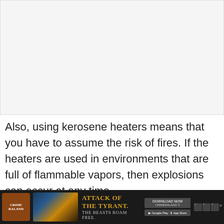[Figure (other): Large image placeholder area at the top of the page, light gray background]
Also, using kerosene heaters means that you have to assume the risk of fires. If the heaters are used in environments that are full of flammable vapors, then explosions can occur at any time.
[Figure (other): Advertisement banner at the bottom: Crimeraland game ad with 'Attack of The Tyrant. The Beasts Roam Free.' text and app store download buttons]